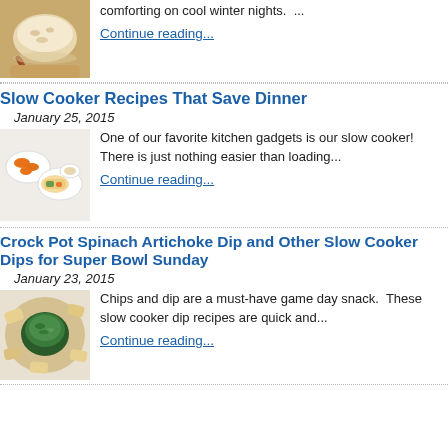[Figure (photo): Bowl of oatmeal or porridge with cinnamon sticks on a wooden surface]
comforting on cool winter nights.  ...
Continue reading...
Slow Cooker Recipes That Save Dinner
January 25, 2015
[Figure (photo): Plates with chicken wings and wraps/tacos on a white surface]
One of our favorite kitchen gadgets is our slow cooker! There is just nothing easier than loading...
Continue reading...
Crock Pot Spinach Artichoke Dip and Other Slow Cooker Dips for Super Bowl Sunday
January 23, 2015
[Figure (photo): Bowl of spinach artichoke dip surrounded by pita chips]
Chips and dip are a must-have game day snack.  These slow cooker dip recipes are quick and...
Continue reading...